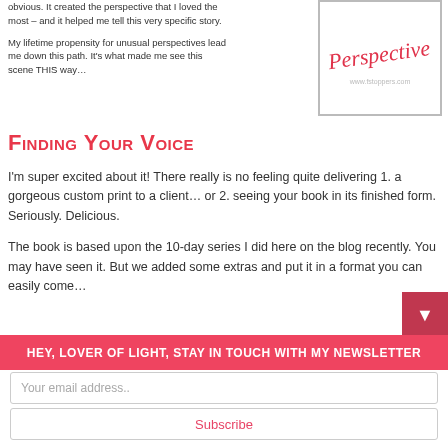obvious. It created the perspective that I loved the most – and it helped me tell this very specific story.

My lifetime propensity for unusual perspectives lead me down this path. It's what made me see this scene THIS way…
[Figure (illustration): Framed image showing cursive red text 'Perspective' with a URL below it]
Finding Your Voice
I'm super excited about it! There really is no feeling quite delivering 1. a gorgeous custom print to a client… or 2. seeing your book in its finished form. Seriously. Delicious.

The book is based upon the 10-day series I did here on the blog recently. You may have seen it. But we added some extras and put it in a format you can easily come…
HEY, LOVER OF LIGHT, STAY IN TOUCH WITH MY NEWSLETTER
Your email address..
Subscribe